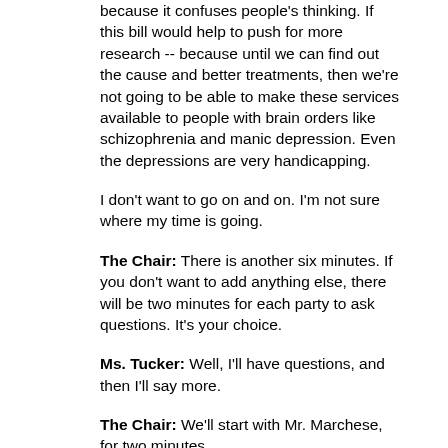because it confuses people's thinking. If this bill would help to push for more research -- because until we can find out the cause and better treatments, then we're not going to be able to make these services available to people with brain orders like schizophrenia and manic depression. Even the depressions are very handicapping.
I don't want to go on and on. I'm not sure where my time is going.
The Chair: There is another six minutes. If you don't want to add anything else, there will be two minutes for each party to ask questions. It's your choice.
Ms. Tucker: Well, I'll have questions, and then I'll say more.
The Chair: We'll start with Mr. Marchese, for two minutes.